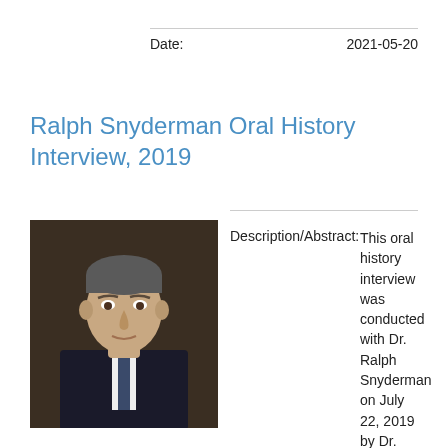Date:    2021-05-20
Ralph Snyderman Oral History Interview, 2019
[Figure (photo): Portrait photo of Dr. Ralph Snyderman, a man in a dark suit with a tie, against a dark background.]
Description/Abstract:
This oral history interview was conducted with Dr. Ralph Snyderman on July 22, 2019 by Dr. Justin Barr as part of the Dr. David Sabiston Oral History Project. During the interview,